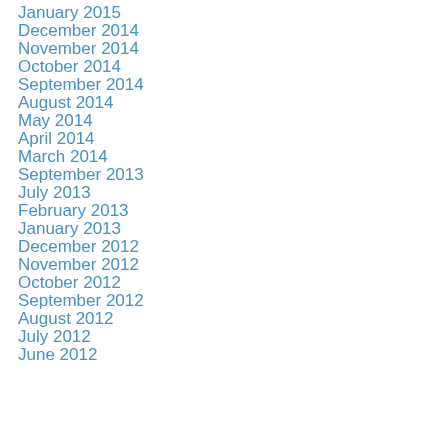January 2015
December 2014
November 2014
October 2014
September 2014
August 2014
May 2014
April 2014
March 2014
September 2013
July 2013
February 2013
January 2013
December 2012
November 2012
October 2012
September 2012
August 2012
July 2012
June 2012